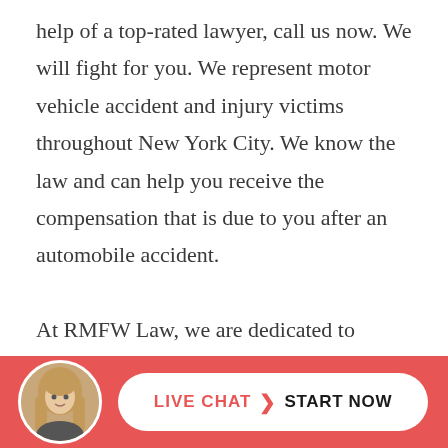help of a top-rated lawyer, call us now. We will fight for you. We represent motor vehicle accident and injury victims throughout New York City. We know the law and can help you receive the compensation that is due to you after an automobile accident.

At RMFW Law, we are dedicated to helping accident victims obtain the money they need to rebuild their lives. Our law firm has been recognized for
[Figure (photo): Circular avatar photo of a woman with long blonde hair, used as a live chat agent icon in the footer bar]
LIVE CHAT > START NOW